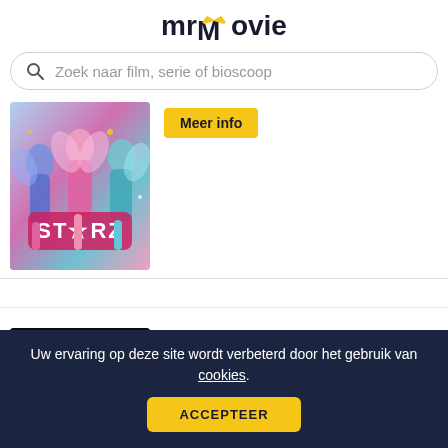mrMovie
Zoek naar film, serie of bioscoop
[Figure (photo): Movie poster for a colorful children's film featuring cartoon-style figures in colorful fairy costumes with the title 'STARZ' in pink star-decorated letters]
Meer info
Skulls & Roses
[Figure (photo): Dark movie poster for 'Skulls & Roses' with a dark background and some light elements]
Uw ervaring op deze site wordt verbeterd door het gebruik van cookies.
ACCEPTEER